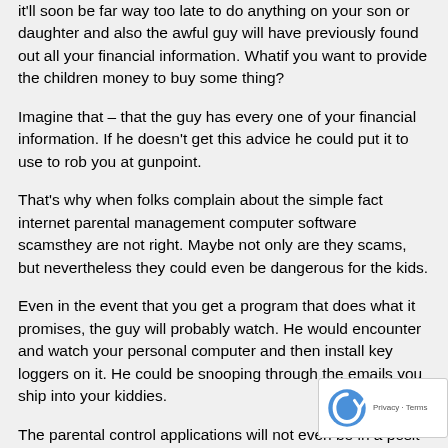it'll soon be far way too late to do anything on your son or daughter and also the awful guy will have previously found out all your financial information. Whatif you want to provide the children money to buy some thing?
Imagine that – that the guy has every one of your financial information. If he doesn't get this advice he could put it to use to rob you at gunpoint.
That's why when folks complain about the simple fact internet parental management computer software scamsthey are not right. Maybe not only are they scams, but nevertheless they could even be dangerous for the kids.
Even in the event that you get a program that does what it promises, the guy will probably watch. He would encounter and watch your personal computer and then install key loggers on it. He could be snooping through the emails you ship into your kiddies.
The parental control applications will not even be in a posit… stop them When the loggers come inplace. If a predator disc…